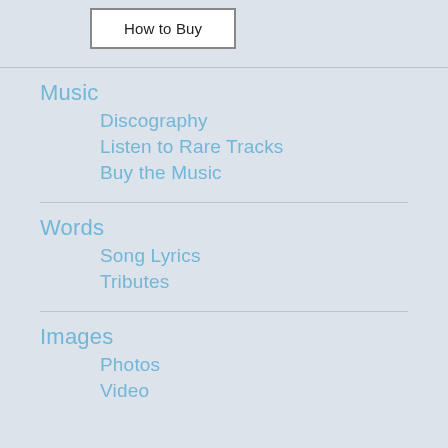[Figure (other): Button with border labeled 'How to Buy']
Music
Discography
Listen to Rare Tracks
Buy the Music
Words
Song Lyrics
Tributes
Images
Photos
Video